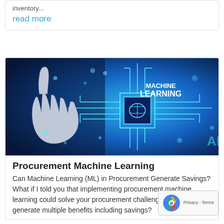inventory...
read more
[Figure (photo): Machine learning concept image showing a hand pointing at a glowing circuit board with 'MACHINE LEARNING' text and a brain icon on a blue background with AI text]
Procurement Machine Learning
Can Machine Learning (ML) in Procurement Generate Savings? What if I told you that implementing procurement machine learning could solve your procurement challenges AND generate multiple benefits including savings?